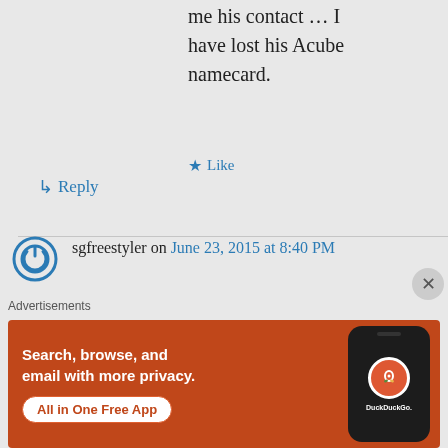me his contact … I have lost his Acube namecard.
★ Like
↳ Reply
sgfreestyler on June 23, 2015 at 8:40 PM
Hi Derek, drop me a
Advertisements
[Figure (screenshot): DuckDuckGo advertisement banner with orange background. Text reads: Search, browse, and email with more privacy. All in One Free App. Shows a phone with DuckDuckGo logo.]